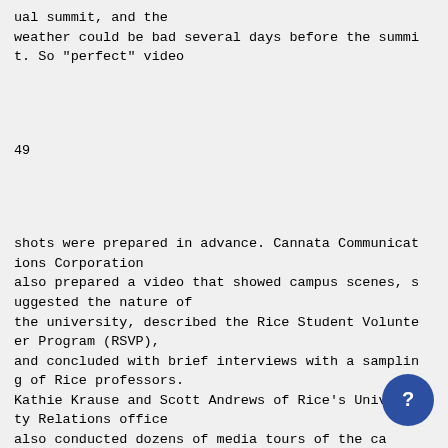ual summit, and the
weather could be bad several days before the summit. So "perfect" video
49
shots were prepared in advance. Cannata Communications Corporation
also prepared a video that showed campus scenes, suggested the nature of
the university, described the Rice Student Volunteer Program (RSVP),
and concluded with brief interviews with a sampling of Rice professors.
Kathie Krause and Scott Andrews of Rice's University Relations office
also conducted dozens of media tours of the ca
in advance of the